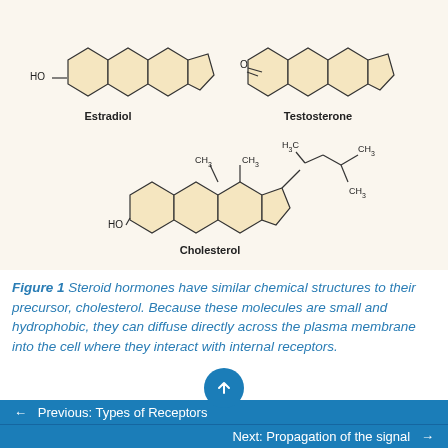[Figure (illustration): Chemical structure diagrams of Estradiol (top left), Testosterone (top right), and Cholesterol (bottom center) steroid molecules drawn on a cream/beige background. Each molecule shows fused ring structures shaded in light yellow/tan. Labels beneath each structure name the molecule. Small chemical group labels (HO, O, H3C, CH3) are shown at relevant positions.]
Figure 1 Steroid hormones have similar chemical structures to their precursor, cholesterol. Because these molecules are small and hydrophobic, they can diffuse directly across the plasma membrane into the cell where they interact with internal receptors.
← Previous: Types of Receptors
Next: Propagation of the signal →